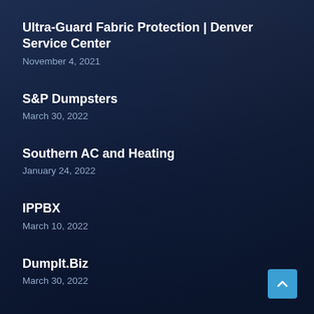Ultra-Guard Fabric Protection | Denver Service Center
November 4, 2021
S&P Dumpsters
March 30, 2022
Southern AC and Heating
January 24, 2022
IPPBX
March 10, 2022
DumpIt.Biz
March 30, 2022